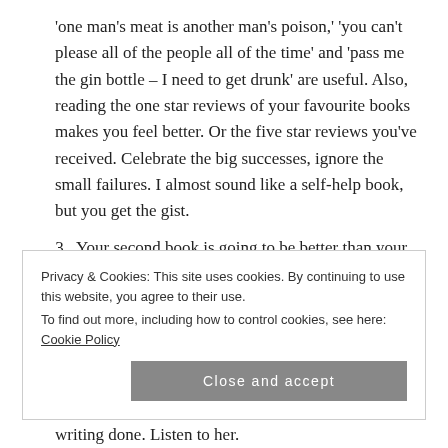'one man's meat is another man's poison,' 'you can't please all of the people all of the time' and 'pass me the gin bottle – I need to get drunk' are useful. Also, reading the one star reviews of your favourite books makes you feel better. Or the five star reviews you've received. Celebrate the big successes, ignore the small failures. I almost sound like a self-help book, but you get the gist.
3. Your second book is going to be better than your first book, your third book is going to be better than your second and so on, provided that you
Privacy & Cookies: This site uses cookies. By continuing to use this website, you agree to their use.
To find out more, including how to control cookies, see here: Cookie Policy
writing done. Listen to her.